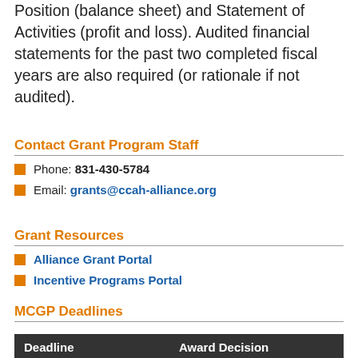Position (balance sheet) and Statement of Activities (profit and loss). Audited financial statements for the past two completed fiscal years are also required (or rationale if not audited).
Contact Grant Program Staff
Phone: 831-430-5784
Email: grants@ccah-alliance.org
Grant Resources
Alliance Grant Portal
Incentive Programs Portal
MCGP Deadlines
| Deadline | Award Decision |
| --- | --- |